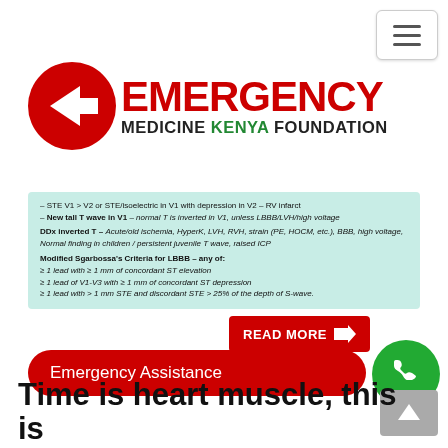[Figure (logo): Emergency Medicine Kenya Foundation logo with red circle arrow icon and text]
[Figure (screenshot): Medical reference card on teal/mint background showing ECG criteria: New tall T wave in V1, DDx inverted T, and Modified Sgarbossa's Criteria for LBBB bullet points]
READ MORE →
Emergency Assistance
Time is heart muscle, this is